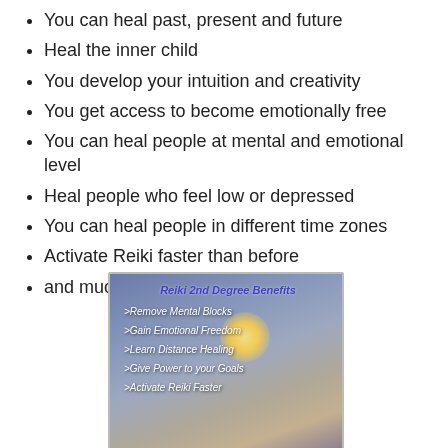You can heal past, present and future
Heal the inner child
You develop your intuition and creativity
You get access to become emotionally free
You can heal people at mental and emotional level
Heal people who feel low or depressed
You can heal people in different time zones
Activate Reiki faster than before
and much more!!!
[Figure (illustration): An image with a sky/cloud background and sun glow showing 'Reiki 2nd Degree Benefits' with items: >Remove Mental Blocks, >Gain Emotional Freedom, >Learn Distance Healing, >Give Power to your Goals, >Activate Reiki Faster]